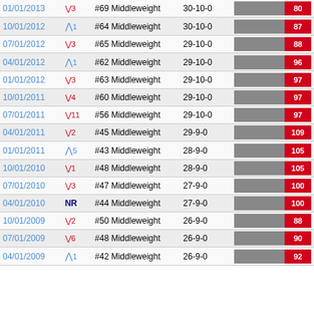| Date | Change | Rank | Record | Score |
| --- | --- | --- | --- | --- |
| 01/01/2013 | ↓3 | #69 Middleweight | 30-10-0 | 80 |
| 10/01/2012 | ↑1 | #64 Middleweight | 30-10-0 | 87 |
| 07/01/2012 | ↓3 | #65 Middleweight | 29-10-0 | 88 |
| 04/01/2012 | ↑1 | #62 Middleweight | 29-10-0 | 96 |
| 01/01/2012 | ↓3 | #63 Middleweight | 29-10-0 | 97 |
| 10/01/2011 | ↓4 | #60 Middleweight | 29-10-0 | 97 |
| 07/01/2011 | ↓11 | #56 Middleweight | 29-10-0 | 97 |
| 04/01/2011 | ↓2 | #45 Middleweight | 29-9-0 | 109 |
| 01/01/2011 | ↑5 | #43 Middleweight | 28-9-0 | 105 |
| 10/01/2010 | ↓1 | #48 Middleweight | 28-9-0 | 105 |
| 07/01/2010 | ↓3 | #47 Middleweight | 27-9-0 | 100 |
| 04/01/2010 | NR | #44 Middleweight | 27-9-0 | 100 |
| 10/01/2009 | ↓2 | #50 Middleweight | 26-9-0 | 88 |
| 07/01/2009 | ↓6 | #48 Middleweight | 26-9-0 | 90 |
| 04/01/2009 | ↑1 | #42 Middleweight | 26-9-0 | 92 |